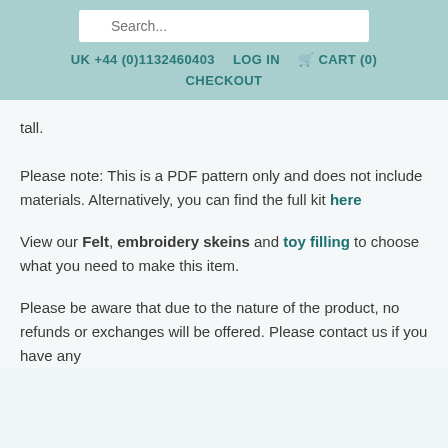Search... UK +44 (0)1132460403 LOG IN CART (0) CHECKOUT
tall.
Please note: This is a PDF pattern only and does not include materials. Alternatively, you can find the full kit here
View our Felt, embroidery skeins and toy filling to choose what you need to make this item.
Please be aware that due to the nature of the product, no refunds or exchanges will be offered. Please contact us if you have any